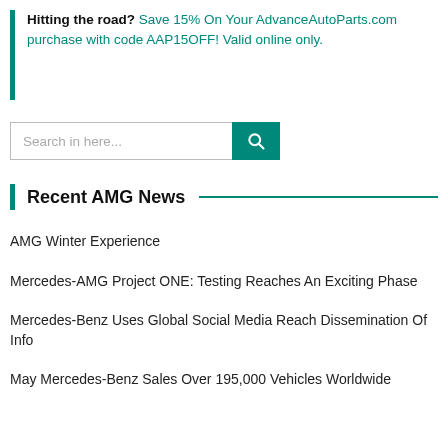Hitting the road? Save 15% On Your AdvanceAutoParts.com purchase with code AAP15OFF! Valid online only.
[Figure (other): Search input box with teal search button containing a magnifying glass icon]
Recent AMG News
AMG Winter Experience
Mercedes-AMG Project ONE: Testing Reaches An Exciting Phase
Mercedes-Benz Uses Global Social Media Reach Dissemination Of Info
May Mercedes-Benz Sales Over 195,000 Vehicles Worldwide